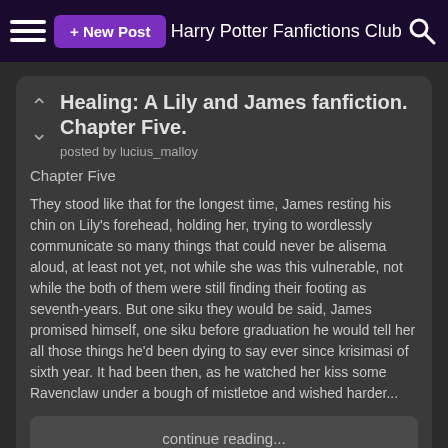Harry Potter Fanfictions Club
Healing: A Lily and James fanfiction. Chapter Five.
posted by lucius_malloy
Chapter Five
They stood like that for the longest time, James resting his chin on Lily's forehead, holding her, trying to wordlessly communicate so many things that could never be alisema aloud, at least not yet, not while she was this vulnerable, not while the both of them were still finding their footing as seventh-years. But one siku they would be said, James promised himself, one siku before graduation he would tell her all those things he'd been dying to say ever since krisimasi of sixth year. It had been then, as he watched her kiss some Ravenclaw under a bough of mistletoe and wished harder...
continue reading...
Healing: A Lily and James